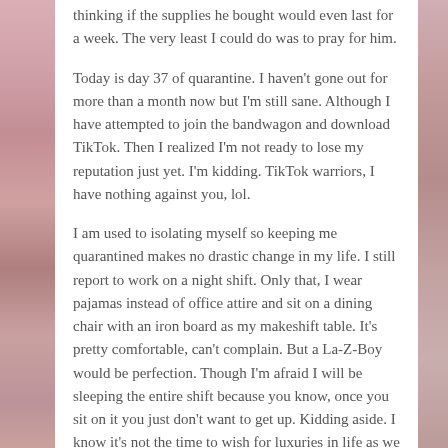thinking if the supplies he bought would even last for a week. The very least I could do was to pray for him.
Today is day 37 of quarantine. I haven't gone out for more than a month now but I'm still sane. Although I have attempted to join the bandwagon and download TikTok. Then I realized I'm not ready to lose my reputation just yet. I'm kidding. TikTok warriors, I have nothing against you, lol.
I am used to isolating myself so keeping me quarantined makes no drastic change in my life. I still report to work on a night shift. Only that, I wear pajamas instead of office attire and sit on a dining chair with an iron board as my makeshift table. It's pretty comfortable, can't complain. But a La-Z-Boy would be perfection. Though I'm afraid I will be sleeping the entire shift because you know, once you sit on it you just don't want to get up. Kidding aside. I know it's not the time to wish for luxuries in life as we are facing crisis.
Anyhoo, how are you? There. In case no one has asked you how have you been. Wherever you are right now and whatever situation you are in, I hope you are doing just fine. I wish I am